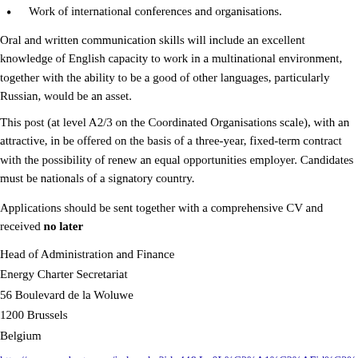Work of international conferences and organisations.
Oral and written communication skills will include an excellent knowledge of English capacity to work in a multinational environment, together with the ability to be a good of other languages, particularly Russian, would be an asset.
This post (at level A2/3 on the Coordinated Organisations scale), with an attractive, in be offered on the basis of a three-year, fixed-term contract with the possibility of rene an equal opportunities employer. Candidates must be nationals of a signatory country.
Applications should be sent together with a comprehensive CV and received no later
Head of Administration and Finance
Energy Charter Secretariat
56 Boulevard de la Woluwe
1200 Brussels
Belgium
http://www.encharter.org/index.php?id=44&L=0L%C2%A1%C2%AFid%C2%A8%C
Posted by Simon Lester on December 10, 2013 at 07:00 AM | Permalink | Comments (0) | TrackBack (0)